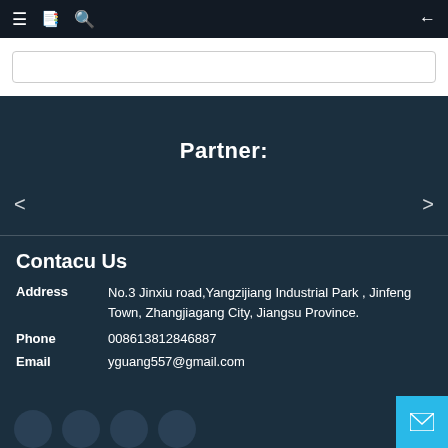≡  📋  🔍  ←
[Figure (screenshot): White search bar area with rounded rectangle input box]
Partner:
< >
Contacu Us
Address   No.3 Jinxiu road,Yangzijiang Industrial Park , Jinfeng Town, Zhangjiagang City, Jiangsu Province.
Phone   008613812846887
Email   yguang557@gmail.com